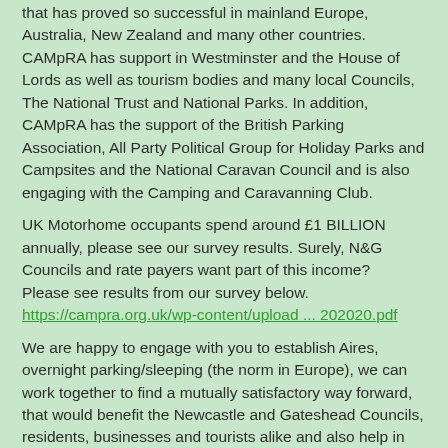that has proved so successful in mainland Europe, Australia, New Zealand and many other countries.
CAMpRA has support in Westminster and the House of Lords as well as tourism bodies and many local Councils, The National Trust and National Parks. In addition, CAMpRA has the support of the British Parking Association, All Party Political Group for Holiday Parks and Campsites and the National Caravan Council and is also engaging with the Camping and Caravanning Club.
UK Motorhome occupants spend around £1 BILLION annually, please see our survey results. Surely, N&G Councils and rate payers want part of this income?
Please see results from our survey below.
https://campra.org.uk/wp-content/upload ... 202020.pdf
We are happy to engage with you to establish Aires, overnight parking/sleeping (the norm in Europe), we can work together to find a mutually satisfactory way forward, that would benefit the Newcastle and Gateshead Councils, residents, businesses and tourists alike and also help in the long term economic regeneration of these areas.
You can contact me at any time by phone or Zoom.
Our help/website/information is free, there is no charge.
Best Regards,
Eddie Yarrow